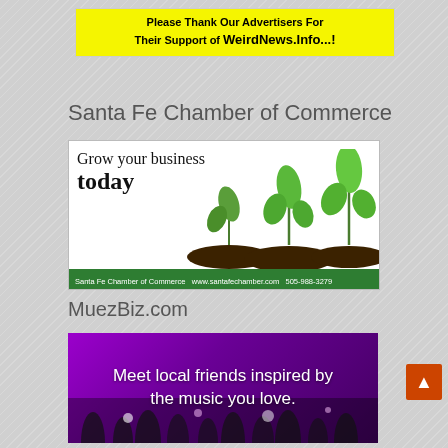Please Thank Our Advertisers For Their Support of WeirdNews.Info...!
Santa Fe Chamber of Commerce
[Figure (illustration): Santa Fe Chamber of Commerce advertisement showing three growing seedlings with text 'Grow your business today' and footer 'Santa Fe Chamber of Commerce  www.santafechamber.com  505-988-3279']
MuezBiz.com
[Figure (illustration): MuezBiz.com advertisement with purple background showing concert crowd silhouettes and text 'Meet local friends inspired by the music you love.']